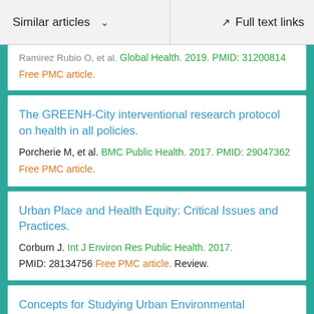Similar articles   Full text links
Ramirez Rubio O, et al. Global Health. 2019. PMID: 31200814 Free PMC article.
The GREENH-City interventional research protocol on health in all policies.
Porcherie M, et al. BMC Public Health. 2017. PMID: 29047362 Free PMC article.
Urban Place and Health Equity: Critical Issues and Practices.
Corburn J. Int J Environ Res Public Health. 2017. PMID: 28134756 Free PMC article. Review.
Concepts for Studying Urban Environmental